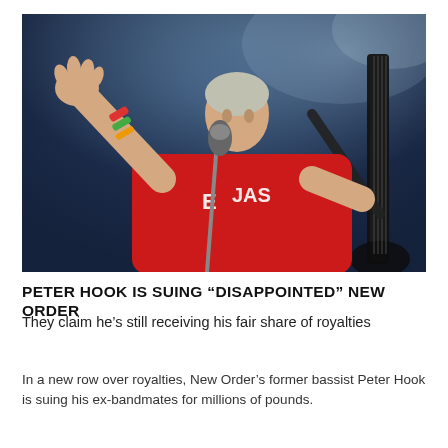[Figure (photo): A man in a red t-shirt with text 'EIJAS' on stage singing into a microphone and holding a guitar, raising his left hand, with colorful wristbands, against a dark blue stage background with spotlights.]
PETER HOOK IS SUING “DISAPPOINTED” NEW ORDER
They claim he’s still receiving his fair share of royalties
In a new row over royalties, New Order’s former bassist Peter Hook is suing his ex-bandmates for millions of pounds.